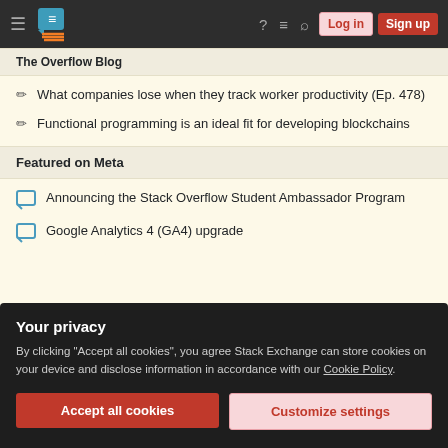Stack Overflow navigation bar with Log in and Sign up buttons
The Overflow Blog
What companies lose when they track worker productivity (Ep. 478)
Functional programming is an ideal fit for developing blockchains
Featured on Meta
Announcing the Stack Overflow Student Ambassador Program
Google Analytics 4 (GA4) upgrade
Your privacy
By clicking "Accept all cookies", you agree Stack Exchange can store cookies on your device and disclose information in accordance with our Cookie Policy.
Accept all cookies
Customize settings